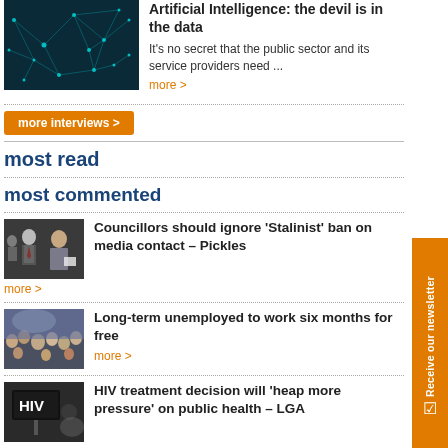[Figure (photo): Dark blue network/neural network abstract image]
Artificial Intelligence: the devil is in the data
It's no secret that the public sector and its service providers need ...
more >
more interviews >
most read
most commented
[Figure (photo): Photo of councillors, man in suit speaking]
Councillors should ignore 'Stalinist' ban on media contact – Pickles
more >
[Figure (photo): Photo of crowd of people]
Long-term unemployed to work six months for free
more >
[Figure (photo): Photo of HIV sign/board]
HIV treatment decision will 'heap more pressure' on public health – LGA